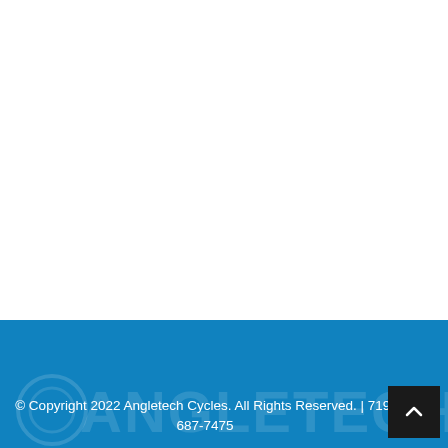© Copyright 2022 Angletech Cycles. All Rights Reserved. | 719-687-7475